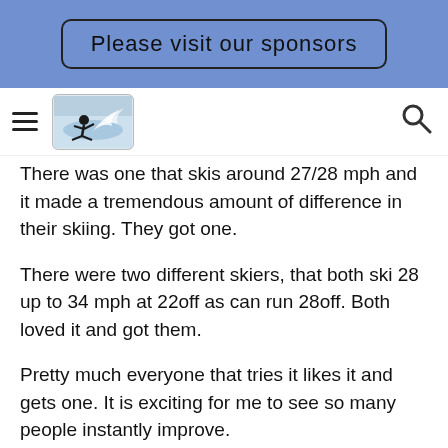Please visit our sponsors
[Figure (other): Water skiing logo image in navigation bar]
There was one that skis around 27/28 mph and it made a tremendous amount of difference in their skiing. They got one.
There were two different skiers, that both ski 28 up to 34 mph at 22off as can run 28off. Both loved it and got them.
Pretty much everyone that tries it likes it and gets one. It is exciting for me to see so many people instantly improve.